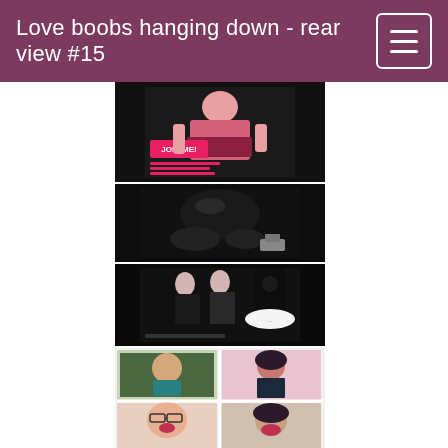Love boobs hanging down - rear view #15
[Figure (illustration): Anime/manga style illustration of a girl in maid outfit with 'JOIN ME!' text]
[Figure (illustration): Dark manga panel showing a figure crouching]
[Figure (illustration): Dark manga panel with multiple characters]
[Figure (illustration): Color manga page with multiple panels showing characters]